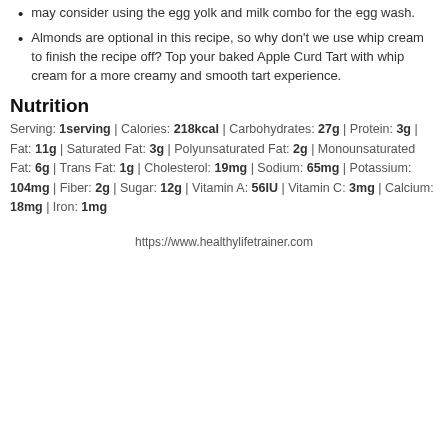may consider using the egg yolk and milk combo for the egg wash.
Almonds are optional in this recipe, so why don't we use whip cream to finish the recipe off? Top your baked Apple Curd Tart with whip cream for a more creamy and smooth tart experience.
Nutrition
Serving: 1serving | Calories: 218kcal | Carbohydrates: 27g | Protein: 3g | Fat: 11g | Saturated Fat: 3g | Polyunsaturated Fat: 2g | Monounsaturated Fat: 6g | Trans Fat: 1g | Cholesterol: 19mg | Sodium: 65mg | Potassium: 104mg | Fiber: 2g | Sugar: 12g | Vitamin A: 56IU | Vitamin C: 3mg | Calcium: 18mg | Iron: 1mg
https://www.healthylifetrainer.com